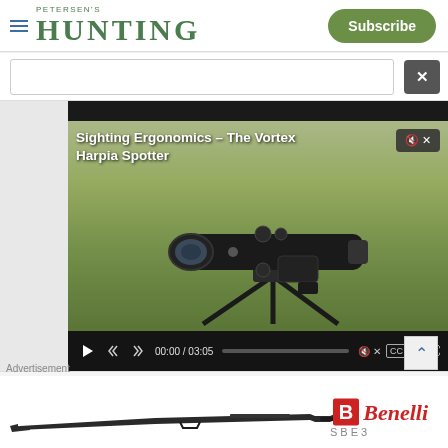PETERSEN'S HUNTING | Subscribe
[Figure (screenshot): Video player showing a spotting scope on a tripod in a field. Title overlay reads 'Sighting Ergonomics – The Vortex Harpia Spotter'. Controls show 00:00 / 03:05. Mute button visible. CC and settings controls shown.]
We use cookies to provide you with the best experience in Outdoors programming. Click accept to continue or read about our Privacy Policy.
[Figure (photo): Benelli SBE3 shotgun advertisement banner with Benelli logo in red and white.]